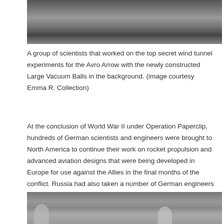[Figure (photo): Black and white photograph of a group of scientists who worked on the top secret wind tunnel experiments for the Avro Arrow, with newly constructed Large Vacuum Balls visible in the background.]
A group of scientists that worked on the top secret wind tunnel experiments for the Avro Arrow with the newly constructed Large Vacuum Balls in the background. (image courtesy Emma R. Collection)
At the conclusion of World War II under Operation Paperclip, hundreds of German scientists and engineers were brought to North America to continue their work on rocket propulsion and advanced aviation designs that were being developed in Europe for use against the Allies in the final months of the conflict. Russia had also taken a number of German engineers into their advanced weapons research programs, so the race was on for each superpower of the Cold War to create the latest and greatest in aviation and rocket designs.
[Figure (photo): Black and white photograph, partial view, appearing to show figures or equipment outdoors.]